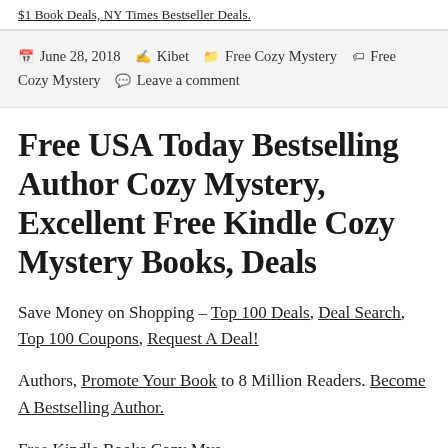$1 Book Deals, NY Times Bestseller Deals.
Posted on June 28, 2018   Author Kibet   Categories Free Cozy Mystery   Tags Free Cozy Mystery   Leave a comment
Free USA Today Bestselling Author Cozy Mystery, Excellent Free Kindle Cozy Mystery Books, Deals
Save Money on Shopping – Top 100 Deals, Deal Search, Top 100 Coupons, Request A Deal!
Authors, Promote Your Book to 8 Million Readers. Become A Bestselling Author.
Free Kindle Books Cozy Mys…